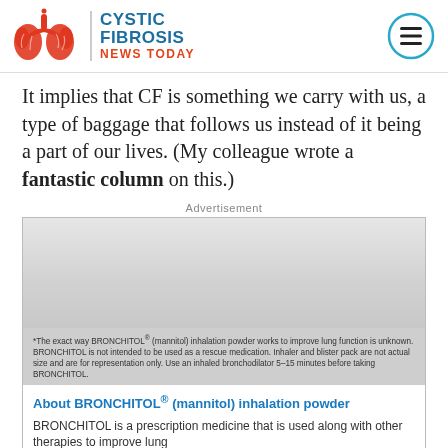Cystic Fibrosis News Today
It implies that CF is something we carry with us, a type of baggage that follows us instead of it being a part of our lives. (My colleague wrote a fantastic column on this.)
Advertisement
[Figure (other): Advertisement for BRONCHITOL (mannitol) inhalation powder, showing a greyed-out image area with disclaimer text and product description below.]
*The exact way BRONCHITOL® (mannitol) inhalation powder works to improve lung function is unknown. BRONCHITOL is not intended to be used as a rescue medication. Inhaler and blister pack are not actual size and are for representation only. Use an inhaled bronchodilator 5–15 minutes before taking BRONCHITOL.
About BRONCHITOL® (mannitol) inhalation powder
BRONCHITOL is a prescription medicine that is used along with other therapies to improve lung